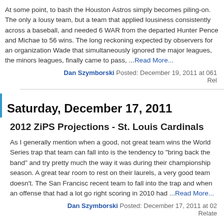At some point, to bash the Houston Astros simply becomes piling-on. The only a lousy team, but a team that applied lousiness consistently across a baseball, and needed 6 WAR from the departed Hunter Pence and Michae to 56 wins. The long reckoning expected by observers for an organization Wade that simultaneously ignored the major leagues, the minors leagues, finally came to pass, ...Read More...
Dan Szymborski Posted: December 19, 2011 at 061 Rel
Saturday, December 17, 2011
2012 ZiPS Projections - St. Louis Cardinals
As I generally mention when a good, not great team wins the World Series trap that team can fall into is the tendency to "bring back the band" and try pretty much the way it was during their championship season. A great tear room to rest on their laurels, a very good team doesn't. The San Francisc recent team to fall into the trap and when an offense that had a lot go right scoring in 2010 had ...Read More...
Dan Szymborski Posted: December 17, 2011 at 02 Relate